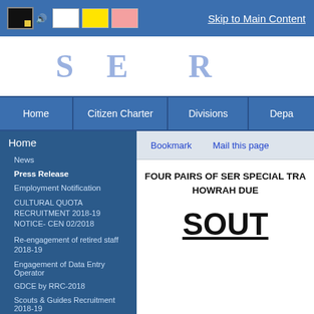Skip to Main Content
[Figure (screenshot): Government website header with logo text partially visible]
Home | Citizen Charter | Divisions | Depa...
Home
News
Press Release
Employment Notification
CULTURAL QUOTA RECRUITMENT 2018-19 NOTICE- CEN 02/2018
Re-engagement of retired staff 2018-19
Engagement of Data Entry Operator
GDCE by RRC-2018
Scouts & Guides Recruitment 2018-19
Sports Quota Recruitment- 2018-19
Bookmark   Mail this page
FOUR PAIRS OF SER SPECIAL TRA... HOWRAH DUE...
SOUT...